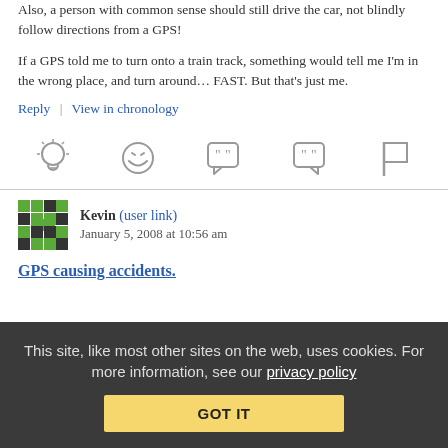Also, a person with common sense should still drive the car, not blindly follow directions from a GPS!
If a GPS told me to turn onto a train track, something would tell me I'm in the wrong place, and turn around… FAST. But that's just me.
Reply | View in chronology
[Figure (infographic): Row of five gray icons: lightbulb, laughing emoji, speech bubble with quote marks, speech bubble with quote marks, flag]
Kevin (user link)  January 5, 2008 at 10:56 am
GPS causing accidents.
This site, like most other sites on the web, uses cookies. For more information, see our privacy policy  GOT IT